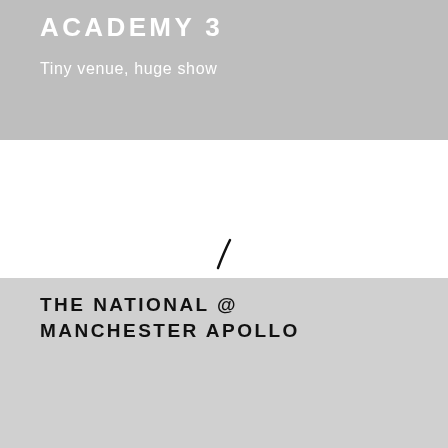ACADEMY 3
Tiny venue, huge show
[Figure (photo): Mostly white/blank middle area with a small dark italic slash or curved mark near the center, appearing to be a partial or loading photo.]
THE NATIONAL @ MANCHESTER APOLLO
A note from a live music review page